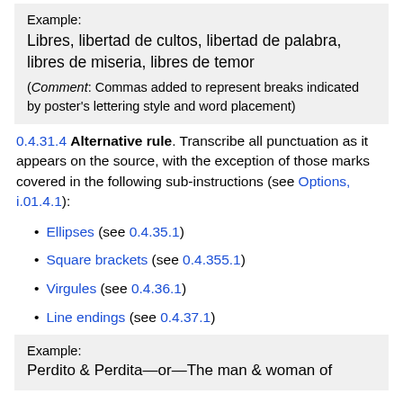Example: Libres, libertad de cultos, libertad de palabra, libres de miseria, libres de temor (Comment: Commas added to represent breaks indicated by poster's lettering style and word placement)
0.4.31.4 Alternative rule. Transcribe all punctuation as it appears on the source, with the exception of those marks covered in the following sub-instructions (see Options, i.01.4.1):
Ellipses (see 0.4.35.1)
Square brackets (see 0.4.355.1)
Virgules (see 0.4.36.1)
Line endings (see 0.4.37.1)
Example: Perdito & Perdita—or—The man & woman of